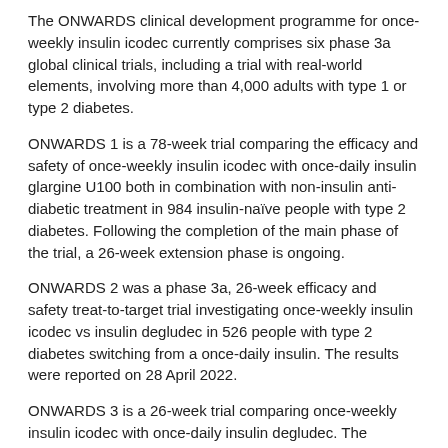The ONWARDS clinical development programme for once-weekly insulin icodec currently comprises six phase 3a global clinical trials, including a trial with real-world elements, involving more than 4,000 adults with type 1 or type 2 diabetes.
ONWARDS 1 is a 78-week trial comparing the efficacy and safety of once-weekly insulin icodec with once-daily insulin glargine U100 both in combination with non-insulin anti-diabetic treatment in 984 insulin-naïve people with type 2 diabetes. Following the completion of the main phase of the trial, a 26-week extension phase is ongoing.
ONWARDS 2 was a phase 3a, 26-week efficacy and safety treat-to-target trial investigating once-weekly insulin icodec vs insulin degludec in 526 people with type 2 diabetes switching from a once-daily insulin. The results were reported on 28 April 2022.
ONWARDS 3 is a 26-week trial comparing once-weekly insulin icodec with once-daily insulin degludec. The objective of the trial is to assess the efficacy and safety of insulin icodec in 588 insulin-naïve people with type 2 diabetes.
ONWARDS 4 is a 26-week trial comparing once-weekly insulin icodec with once-daily insulin degludec, both in combination with mealtime insulin. The objective of the trial is to assess the efficacy and safety of insulin icodec in...